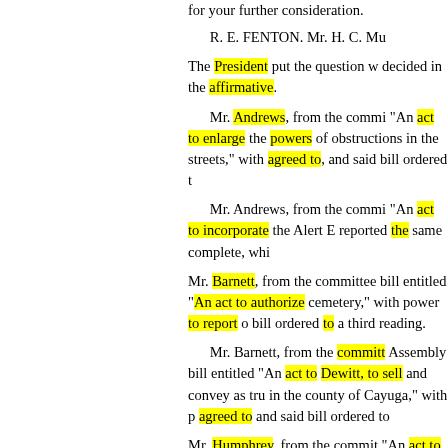for your further consideration.
R. E. FENTON. Mr. H. C. Mu
The President put the question w decided in the affirmative.
Mr. Andrews, from the commi "An act to enlarge the powers of obstructions in the streets," with agreed to, and said bill ordered t
Mr. Andrews, from the commi "An act to incorporate the Alert E reported the same complete, whi
Mr. Barnett, from the committee bill entitled "An act to authorize cemetery," with power to report o bill ordered to a third reading.
Mr. Barnett, from the committ Assembly bill entitled "An act to Dewitt, to sell and convey as tru in the county of Cayuga," with p agreed to and said bill ordered to
Mr. Humphrey, from the commit "An act to amend an act entitled